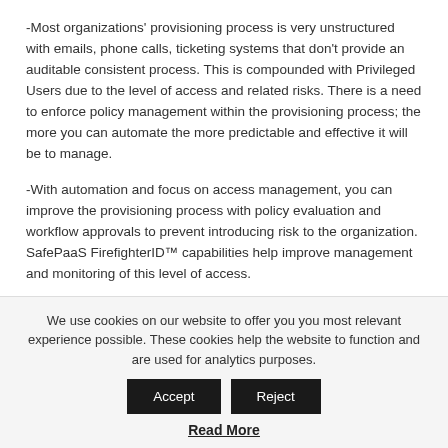-Most organizations' provisioning process is very unstructured with emails, phone calls, ticketing systems that don't provide an auditable consistent process. This is compounded with Privileged Users due to the level of access and related risks. There is a need to enforce policy management within the provisioning process; the more you can automate the more predictable and effective it will be to manage.
-With automation and focus on access management, you can improve the provisioning process with policy evaluation and workflow approvals to prevent introducing risk to the organization. SafePaaS FirefighterID™ capabilities help improve management and monitoring of this level of access.
The below infographic represents the provisioning process using SafePaaS iAccess™ which is slightly different for Privileged User Management.
We use cookies on our website to offer you you most relevant experience possible. These cookies help the website to function and are used for analytics purposes.
Read More